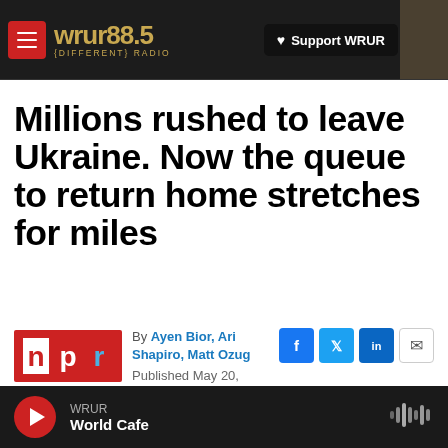WRUR 88.5 {DIFFERENT} RADIO — Support WRUR
Millions rushed to leave Ukraine. Now the queue to return home stretches for miles
By Ayen Bior, Ari Shapiro, Matt Ozug
Published May 20, 2022 at 5:00 AM EDT
WRUR World Cafe